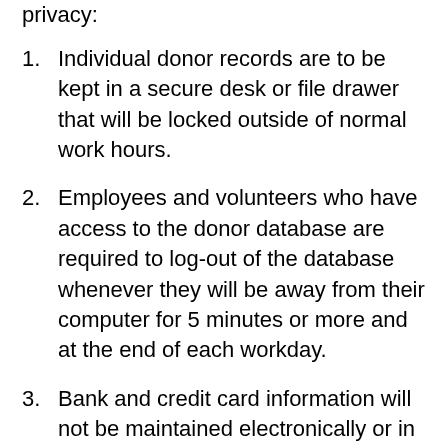privacy:
Individual donor records are to be kept in a secure desk or file drawer that will be locked outside of normal work hours.
Employees and volunteers who have access to the donor database are required to log-out of the database whenever they will be away from their computer for 5 minutes or more and at the end of each workday.
Bank and credit card information will not be maintained electronically or in hardcopy format. Any credit card